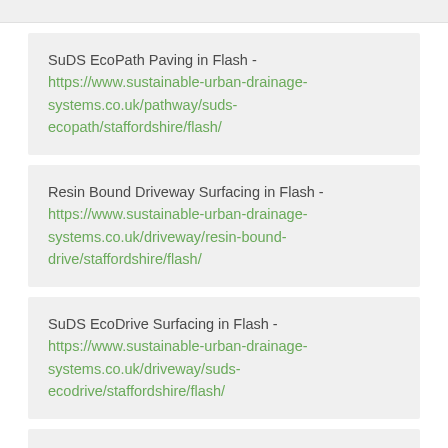SuDS EcoPath Paving in Flash - https://www.sustainable-urban-drainage-systems.co.uk/pathway/suds-ecopath/staffordshire/flash/
Resin Bound Driveway Surfacing in Flash - https://www.sustainable-urban-drainage-systems.co.uk/driveway/resin-bound-drive/staffordshire/flash/
SuDS EcoDrive Surfacing in Flash - https://www.sustainable-urban-drainage-systems.co.uk/driveway/suds-ecodrive/staffordshire/flash/
Addagrip Resin Surfacing Specifications in Flash - https://www.sustainable-urban-drainage-systems.co.uk/brands/addagrip/staffordshire/flash/
Ronacrete Stone Paving Specifications in Flash - https://www.sustainable-urban-drainage-systems.co.uk/...